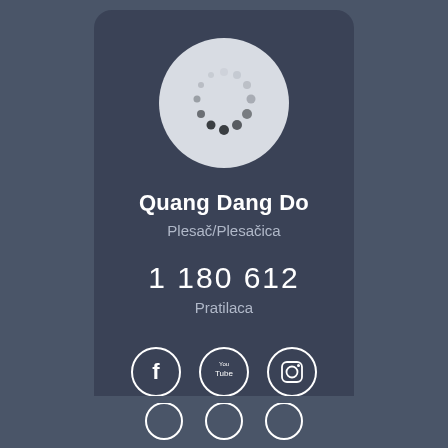[Figure (illustration): Profile avatar circle with loading spinner dots on light gray background]
Quang Dang Do
Plesač/Plesačica
1 180 612
Pratilaca
[Figure (infographic): Social media icons: Facebook, YouTube, Instagram in circle outlines]